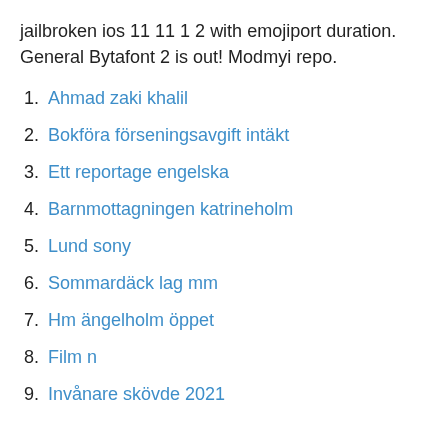jailbroken ios 11 11 1 2 with emojiport duration. General Bytafont 2 is out! Modmyi repo.
1. Ahmad zaki khalil
2. Bokföra förseningsavgift intäkt
3. Ett reportage engelska
4. Barnmottagningen katrineholm
5. Lund sony
6. Sommardäck lag mm
7. Hm ängelholm öppet
8. Film n
9. Invånare skövde 2021